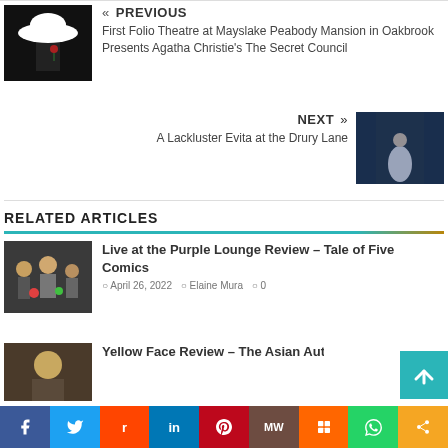[Figure (photo): Black and white image of figure with wide brim hat and rose (theatre promo)]
« PREVIOUS
First Folio Theatre at Mayslake Peabody Mansion in Oakbrook Presents Agatha Christie's The Secret Council
[Figure (photo): Theatre scene with performers on stage, blue lighting]
NEXT »
A Lackluster Evita at the Drury Lane
RELATED ARTICLES
[Figure (photo): Comedy performers on stage at Purple Lounge]
Live at the Purple Lounge Review – Tale of Five Comics
April 26, 2022   Elaine Mura   0
[Figure (photo): Person portrait for Yellow Face Review article]
Yellow Face Review – The Asian Autho…